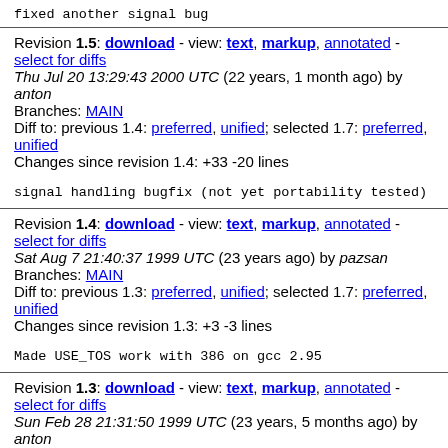fixed another signal bug
Revision 1.5: download - view: text, markup, annotated - select for diffs
Thu Jul 20 13:29:43 2000 UTC (22 years, 1 month ago) by anton
Branches: MAIN
Diff to: previous 1.4: preferred, unified; selected 1.7: preferred, unified
Changes since revision 1.4: +33 -20 lines
signal handling bugfix (not yet portability tested)
Revision 1.4: download - view: text, markup, annotated - select for diffs
Sat Aug 7 21:40:37 1999 UTC (23 years ago) by pazsan
Branches: MAIN
Diff to: previous 1.3: preferred, unified; selected 1.7: preferred, unified
Changes since revision 1.3: +3 -3 lines
Made USE_TOS work with 386 on gcc 2.95
Revision 1.3: download - view: text, markup, annotated - select for diffs
Sun Feb 28 21:31:50 1999 UTC (23 years, 5 months ago) by anton
Branches: MAIN